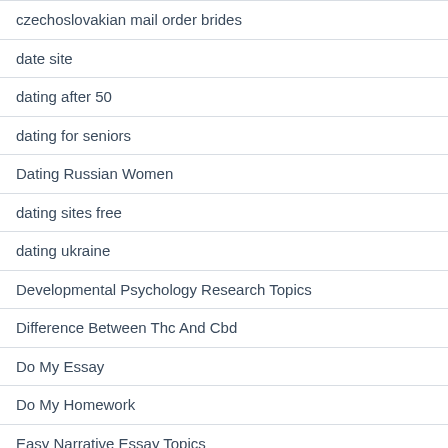czechoslovakian mail order brides
date site
dating after 50
dating for seniors
Dating Russian Women
dating sites free
dating ukraine
Developmental Psychology Research Topics
Difference Between Thc And Cbd
Do My Essay
Do My Homework
Easy Narrative Essay Topics